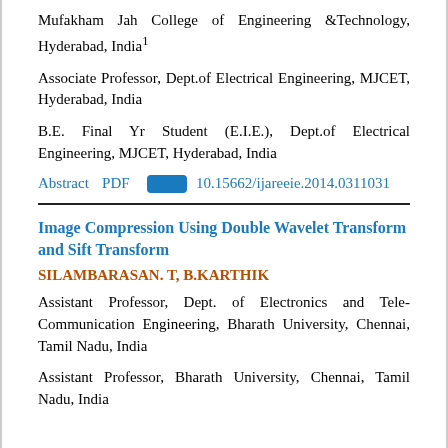Mufakham Jah College of Engineering &Technology, Hyderabad, India1
Associate Professor, Dept.of Electrical Engineering, MJCET, Hyderabad, India
B.E. Final Yr Student (E.I.E.), Dept.of Electrical Engineering, MJCET, Hyderabad, India
Abstract  PDF  doi>  10.15662/ijareeie.2014.0311031
Image Compression Using Double Wavelet Transform and Sift Transform
SILAMBARASAN. T, B.KARTHIK
Assistant Professor, Dept. of Electronics and Tele-Communication Engineering, Bharath University, Chennai, Tamil Nadu, India
Assistant Professor, Bharath University, Chennai, Tamil Nadu, India